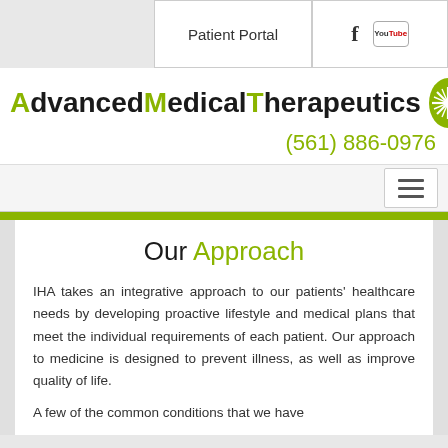Patient Portal
[Figure (logo): Advanced Medical Therapeutics logo with green starburst circle]
(561) 886-0976
Our Approach
IHA takes an integrative approach to our patients' healthcare needs by developing proactive lifestyle and medical plans that meet the individual requirements of each patient. Our approach to medicine is designed to prevent illness, as well as improve quality of life.
A few of the common conditions that we have